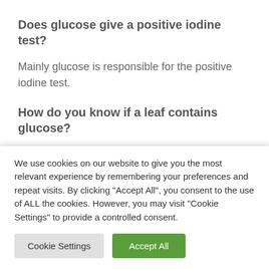Does glucose give a positive iodine test?
Mainly glucose is responsible for the positive iodine test.
How do you know if a leaf contains glucose?
To test for glucose you add Benedicts’ reagent and place in a water bath at 90oC for 5 minutes. If glucose is present the colour changes from blue to orange (sometimes it takes a while and the colour looks a green yellow as it is
We use cookies on our website to give you the most relevant experience by remembering your preferences and repeat visits. By clicking “Accept All”, you consent to the use of ALL the cookies. However, you may visit “Cookie Settings” to provide a controlled consent.